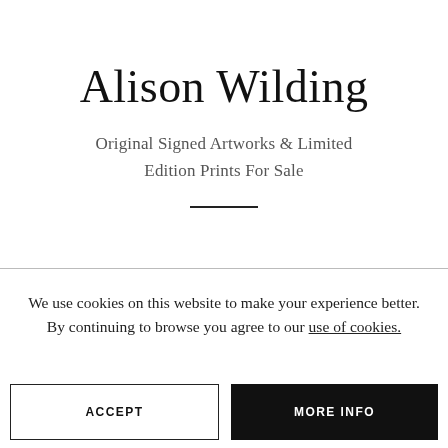Alison Wilding
Original Signed Artworks & Limited Edition Prints For Sale
We use cookies on this website to make your experience better. By continuing to browse you agree to our use of cookies.
ACCEPT
MORE INFO